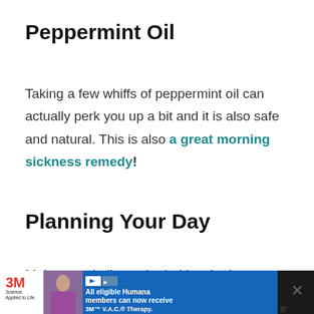Peppermint Oil
Taking a few whiffs of peppermint oil can actually perk you up a bit and it is also safe and natural. This is also a great morning sickness remedy!
Planning Your Day
Make a to-do list and prioritize the important tasks first. In this way, you can get things done quickly and also get that extra time in for rest a...
[Figure (other): Advertisement banner at bottom: 3M Science Applied to Life logo with nurse image, blue section with text 'All eligible Humana members can now receive 3M V.A.C. Therapy.' and close button]